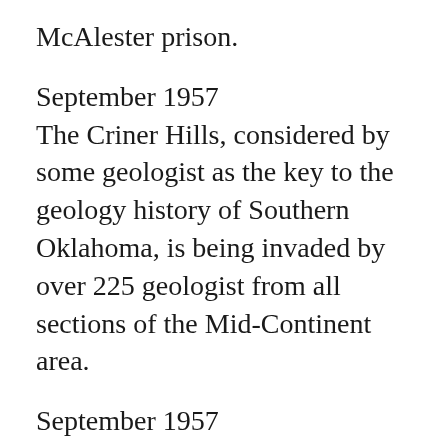McAlester prison.
September 1957
The Criner Hills, considered by some geologist as the key to the geology history of Southern Oklahoma, is being invaded by over 225 geologist from all sections of the Mid-Continent area.
September 1957
Spelunkers explored Wild Woman's Cave, which is more than 100 feet underground and located about seven and a half miles northwest of Springer. It was 7 hours in a dank, foreboding cave which Legend says